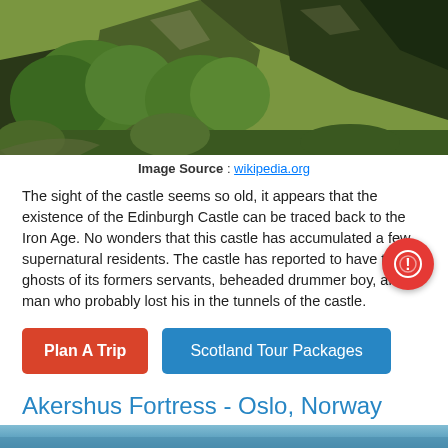[Figure (photo): Aerial/landscape photo of Edinburgh Castle rock with trees and rocky cliffs, green foliage, dark shadowed cliffs in background]
Image Source : wikipedia.org
The sight of the castle seems so old, it appears that the existence of the Edinburgh Castle can be traced back to the Iron Age. No wonders that this castle has accumulated a few supernatural residents. The castle has reported to have the ghosts of its formers servants, beheaded drummer boy, and a man who probably lost his in the tunnels of the castle.
Plan A Trip | Scotland Tour Packages
Akershus Fortress - Oslo, Norway
[Figure (photo): Partial photo of Akershus Fortress, Oslo Norway - light blue sky background, beginning of image visible at bottom]